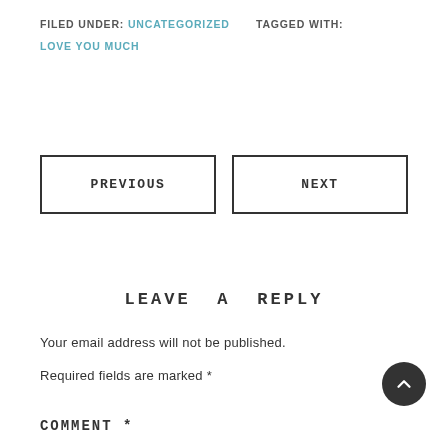FILED UNDER: UNCATEGORIZED   TAGGED WITH:
LOVE YOU MUCH
PREVIOUS
NEXT
LEAVE A REPLY
Your email address will not be published.
Required fields are marked *
COMMENT *